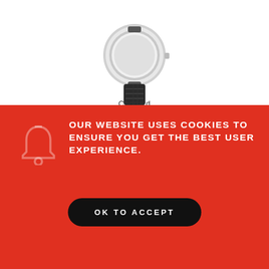[Figure (photo): Partial view of a Chopard watch with black leather strap, cropped at the bottom of the watch face]
Chopard
OUR WEBSITE USES COOKIES TO ENSURE YOU GET THE BEST USER EXPERIENCE.
OK TO ACCEPT